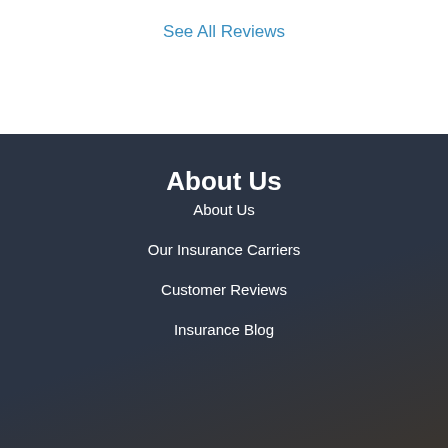See All Reviews
About Us
About Us
Our Insurance Carriers
Customer Reviews
Insurance Blog